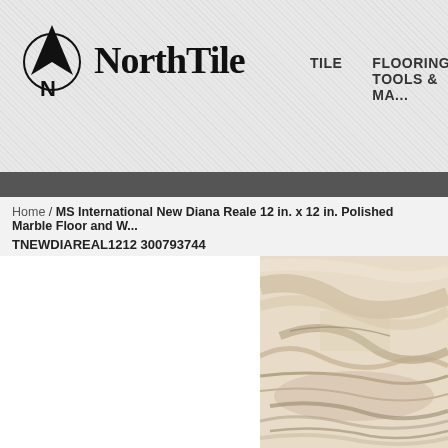[Figure (logo): NorthTile logo with compass/arrow icon and serif text 'NorthTile']
TILE    FLOORING TOOLS & MA...
Home / MS International New Diana Reale 12 in. x 12 in. Polished Marble Floor and W...
TNEWDIAREAL1212 300793744
[Figure (photo): Close-up photo of polished marble tile in beige/cream tones with natural veining and layered stone texture]